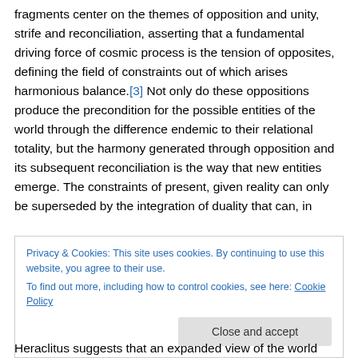fragments center on the themes of opposition and unity, strife and reconciliation, asserting that a fundamental driving force of cosmic process is the tension of opposites, defining the field of constraints out of which arises harmonious balance.[3] Not only do these oppositions produce the precondition for the possible entities of the world through the difference endemic to their relational totality, but the harmony generated through opposition and its subsequent reconciliation is the way that new entities emerge. The constraints of present, given reality can only be superseded by the integration of duality that can, in
Privacy & Cookies: This site uses cookies. By continuing to use this website, you agree to their use.
To find out more, including how to control cookies, see here: Cookie Policy
Close and accept
Heraclitus suggests that an expanded view of the world